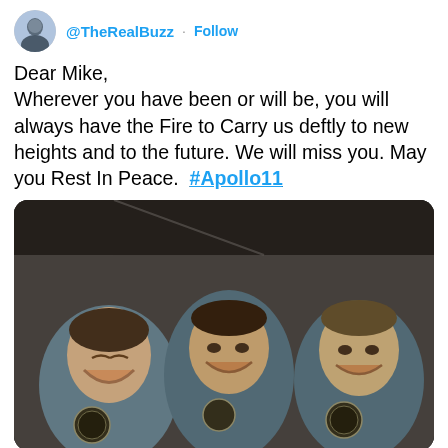@TheRealBuzz · Follow
Dear Mike,
Wherever you have been or will be, you will always have the Fire to Carry us deftly to new heights and to the future. We will miss you. May you Rest In Peace.  #Apollo11
[Figure (photo): Three Apollo 11 astronauts in blue flight suits laughing and smiling together in a close group photo]